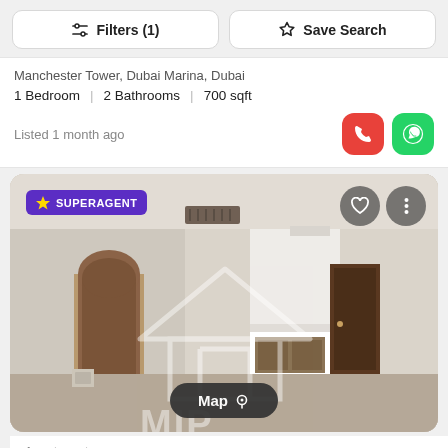Filters (1)  Save Search
Manchester Tower, Dubai Marina, Dubai
1 Bedroom  |  2 Bathrooms  |  700 sqft
Listed 1 month ago
[Figure (photo): Interior photo of an empty apartment room with beige walls, arched doorway, corridor with doors, MIP Real Estate watermark. SUPERAGENT badge in top-left, heart and more icons top-right, Map button at bottom center.]
Apartment